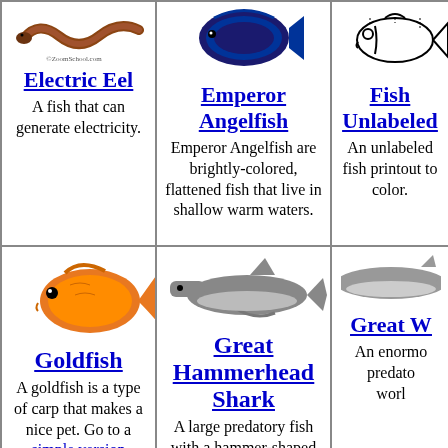[Figure (illustration): Brown electric eel illustration with ZoomSchool.com watermark]
Electric Eel
A fish that can generate electricity.
[Figure (illustration): Emperor Angelfish illustration - blue/dark colored fish]
Emperor Angelfish
Emperor Angelfish are brightly-colored, flattened fish that live in shallow warm waters.
[Figure (illustration): Fish unlabeled line drawing for coloring]
Fish Unlabeled
An unlabeled fish printout to color.
[Figure (illustration): Partially visible illustration (rightmost column, row 1)]
A ... fou... i...
[Figure (illustration): Orange goldfish illustration]
Goldfish
A goldfish is a type of carp that makes a nice pet. Go to a simple version (unlabeled and with no information).
[Figure (illustration): Great Hammerhead Shark gray illustration]
Great Hammerhead Shark
A large predatory fish with a hammer-shaped head.
[Figure (illustration): Partially visible gray shark illustration (Great White)]
Great W
An enormo predato worl